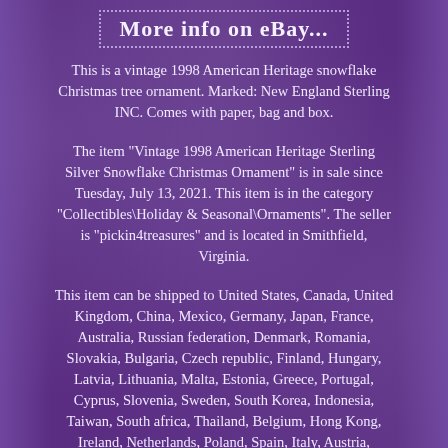More info on eBay...
This is a vintage 1998 American Heritage snowflake Christmas tree ornament. Marked: New England Sterling INC. Comes with paper, bag and box.
The item "Vintage 1998 American Heritage Sterling Silver Snowflake Christmas Ornament" is in sale since Tuesday, July 13, 2021. This item is in the category "Collectibles\Holiday & Seasonal\Ornaments". The seller is "pickin4treasures" and is located in Smithfield, Virginia.
This item can be shipped to United States, Canada, United Kingdom, China, Mexico, Germany, Japan, France, Australia, Russian federation, Denmark, Romania, Slovakia, Bulgaria, Czech republic, Finland, Hungary, Latvia, Lithuania, Malta, Estonia, Greece, Portugal, Cyprus, Slovenia, Sweden, South Korea, Indonesia, Taiwan, South africa, Thailand, Belgium, Hong Kong, Ireland, Netherlands, Poland, Spain, Italy, Austria, Bahamas, Israel, New Zealand, Philippines, Singapore, Switzerland, Norway, Saudi arabia, Ukraine, United arab emirates, Qatar, Kuwait, Bahrain,